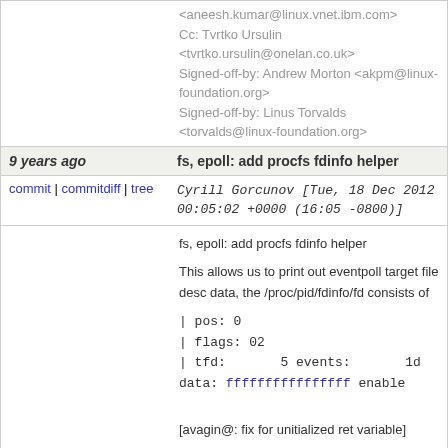<aneesh.kumar@linux.vnet.ibm.com>
Cc: Tvrtko Ursulin <tvrtko.ursulin@onelan.co.uk>
Signed-off-by: Andrew Morton <akpm@linux-foundation.org>
Signed-off-by: Linus Torvalds <torvalds@linux-foundation.org>
9 years ago   fs, epoll: add procfs fdinfo helper
commit | commitdiff | tree   Cyrill Gorcunov [Tue, 18 Dec 2012 00:05:02 +0000 (16:05 -0800)]
fs, epoll: add procfs fdinfo helper

This allows us to print out eventpoll target file desc data, the /proc/pid/fdinfo/fd consists of

| pos: 0
| flags: 02
| tfd:       5 events:       1d data: ffffffffffffffff enabled

[avagin@: fix for unitialized ret variable]

Signed-off-by: Cyrill Gorcunov <gorcunov@openvz.org>
Acked-by: Pavel Emelyanov <xemul@parallels.com>
Cc: Oleg Nesterov <oleg@redhat.com>
Cc: Andrey Vagin <avagin@openvz.org>